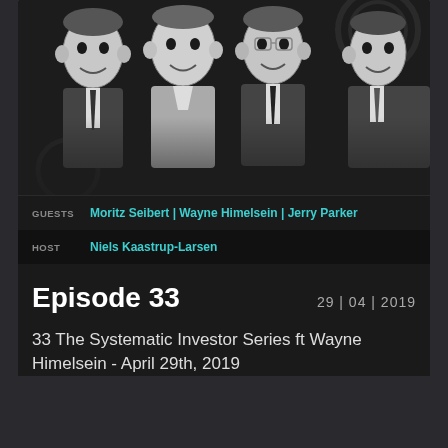[Figure (illustration): Black and white caricature illustration of four men in suits, rendered in a sketchy artistic style against a dark background]
GUESTS  Moritz Seibert | Wayne Himelsein | Jerry Parker
HOST  Niels Kaastrup-Larsen
Episode 33
29 | 04 | 2019
33 The Systematic Investor Series ft Wayne Himelsein - April 29th, 2019